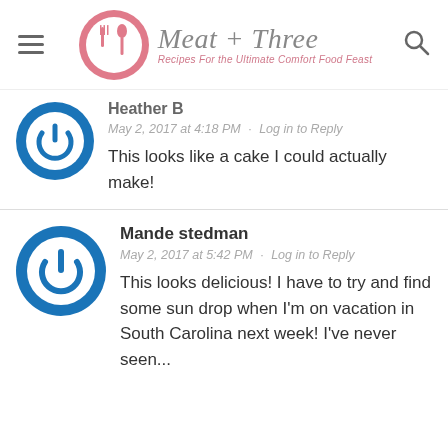Meat + Three — Recipes For the Ultimate Comfort Food Feast
Heather B
May 2, 2017 at 4:18 PM · Log in to Reply
This looks like a cake I could actually make!
Mande stedman
May 2, 2017 at 5:42 PM · Log in to Reply
This looks delicious! I have to try and find some sun drop when I'm on vacation in South Carolina next week! I've never seen...